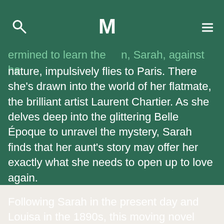M (logo)
ermined to learn the   n, Sarah, against her nature, impulsively flies to Paris. There she’s drawn into the world of her flatmate, the brilliant artist Laurent Chartier. As she delves deep into the glittering Belle Époque to unravel the mystery, Sarah finds that her aunt’s story may offer her exactly what she needs to open up to love again.
Following Sarah in the present day and Louisa in the 1890s, this moving novel spans more than a century to tell the stories of two remarkable women.